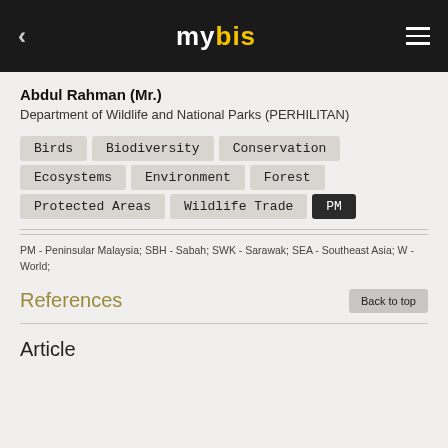< mybis ≡
Abdul Rahman (Mr.)
Department of Wildlife and National Parks (PERHILITAN)
Birds  Biodiversity  Conservation
Ecosystems  Environment  Forest
Protected Areas  Wildlife Trade  PM
PM - Peninsular Malaysia; SBH - Sabah; SWK - Sarawak; SEA - Southeast Asia; W - World;
References
Article